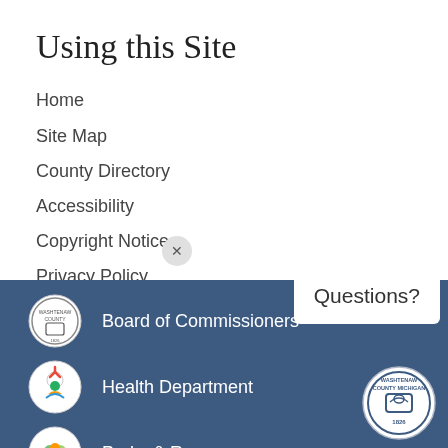Using this Site
Home
Site Map
County Directory
Accessibility
Copyright Notices
Privacy Policy
[Figure (other): Google Translate widget with 'Select Language' dropdown button]
[Figure (other): Close button (x) for Questions popup]
Questions?
[Figure (logo): Washtenaw County Board of Commissioners circular seal logo]
Board of Commissioners
[Figure (logo): Washtenaw County Health Department logo with colorful design]
Health Department
[Figure (logo): Washtenaw County Michigan seal logo on footer right]
[Figure (logo): Parks & Recreation logo (partially visible)]
Parks & Recrea...